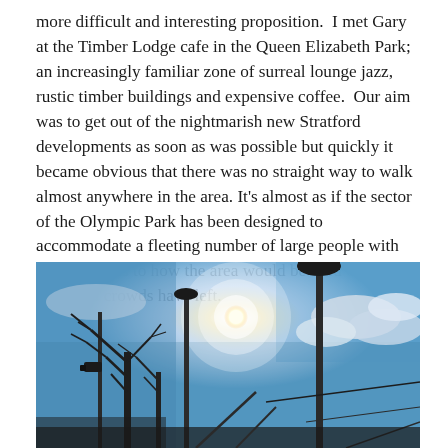more difficult and interesting proposition.  I met Gary at the Timber Lodge cafe in the Queen Elizabeth Park; an increasingly familiar zone of surreal lounge jazz, rustic timber buildings and expensive coffee.  Our aim was to get out of the nightmarish new Stratford developments as soon as was possible but quickly it became obvious that there was no straight way to walk almost anywhere in the area.  It's almost as if the sector of the Olympic Park has been designed to accommodate a fleeting number of large people with no thought as to how the area would be used once the sport and crowds have left.
[Figure (photo): Outdoor urban photo taken from a low angle looking up at a sky with bright sun glare and blue sky with clouds. Silhouettes of bare winter trees, lamp posts, and urban infrastructure visible against the bright sky.]